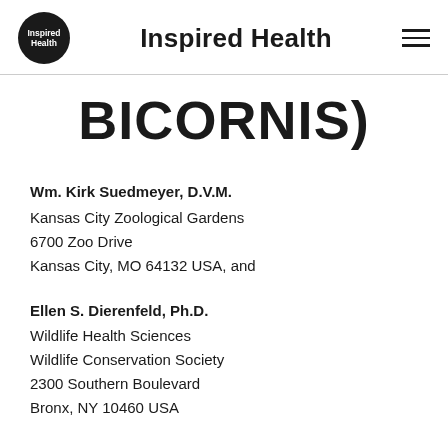Inspired Health
BICORNIS)
Wm. Kirk Suedmeyer, D.V.M.
Kansas City Zoological Gardens
6700 Zoo Drive
Kansas City, MO 64132 USA, and
Ellen S. Dierenfeld, Ph.D.
Wildlife Health Sciences
Wildlife Conservation Society
2300 Southern Boulevard
Bronx, NY 10460 USA